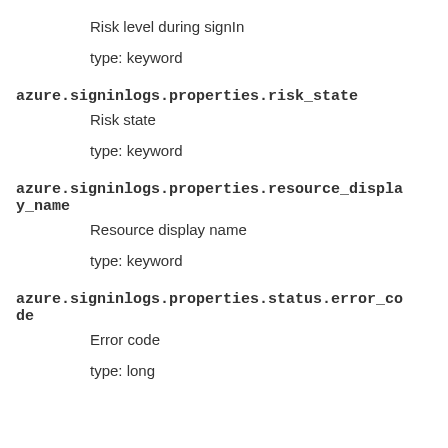Risk level during signIn
type: keyword
azure.signinlogs.properties.risk_state
Risk state
type: keyword
azure.signinlogs.properties.resource_display_name
Resource display name
type: keyword
azure.signinlogs.properties.status.error_code
Error code
type: long